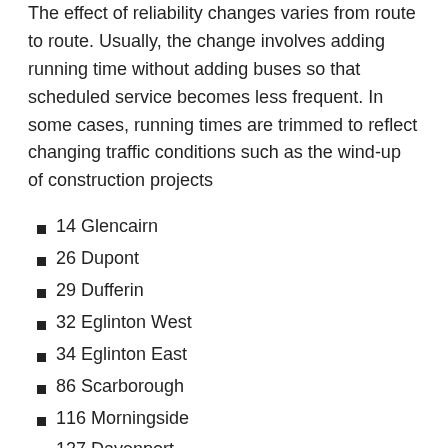The effect of reliability changes varies from route to route. Usually, the change involves adding running time without adding buses so that scheduled service becomes less frequent. In some cases, running times are trimmed to reflect changing traffic conditions such as the wind-up of construction projects
14 Glencairn
26 Dupont
29 Dufferin
32 Eglinton West
34 Eglinton East
86 Scarborough
116 Morningside
127 Davenport
929 Dufferin Express
941 Keele Express